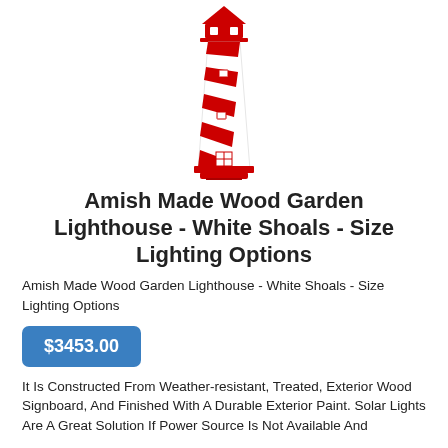[Figure (illustration): A decorative Amish-made wood garden lighthouse with red and white spiral stripes, a red roof lantern room at the top, small windows, and a red base.]
Amish Made Wood Garden Lighthouse - White Shoals - Size Lighting Options
Amish Made Wood Garden Lighthouse - White Shoals - Size Lighting Options
$3453.00
It Is Constructed From Weather-resistant, Treated, Exterior Wood Signboard, And Finished With A Durable Exterior Paint. Solar Lights Are A Great Solution If Power Source Is Not Available And